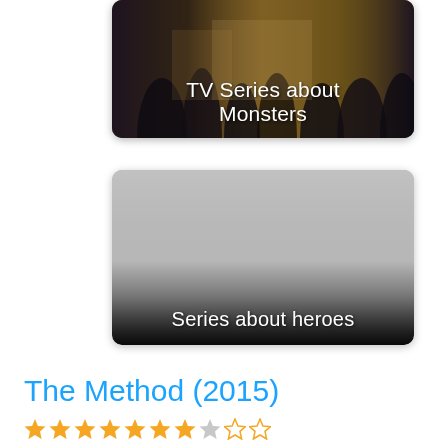[Figure (photo): TV series promotional image with group of people and text overlay: TV Series about Monsters]
[Figure (photo): Gray placeholder image card with text overlay: Series about heroes]
The Method (2015)
[Figure (other): Star rating row: 7 filled gold stars, 1 gray star, 2 half/outlined stars]